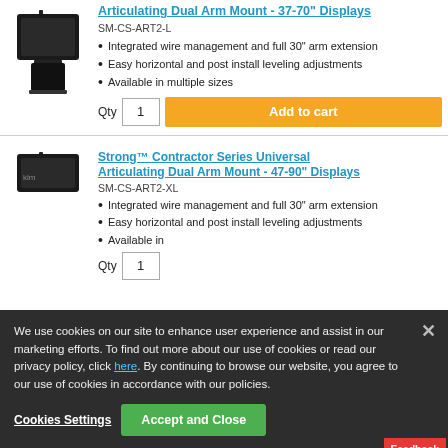[Figure (photo): Black articulating dual arm TV wall mount product image]
Articulating Dual Arm Mount - 37-70" Displays
SM-CS-ART2-L
Integrated wire management and full 30" arm extension
Easy horizontal and post install leveling adjustments
Available in multiple sizes
Qty 1 Add to cart
[Figure (photo): Black articulating dual arm TV wall mount product image (second product)]
Strong™ Contractor Series Universal Articulating Dual Arm Mount - 47-90" Displays
SM-CS-ART2-XL
Integrated wire management and full 30" arm extension
Easy horizontal and post install leveling adjustments
Available in multiple sizes
Qty 1
We use cookies on our site to enhance user experience and assist in our marketing efforts. To find out more about our use of cookies or read our privacy policy, click here. By continuing to browse our website, you agree to our use of cookies in accordance with our policies.
Cookies Settings
Accept and Close
Feedback